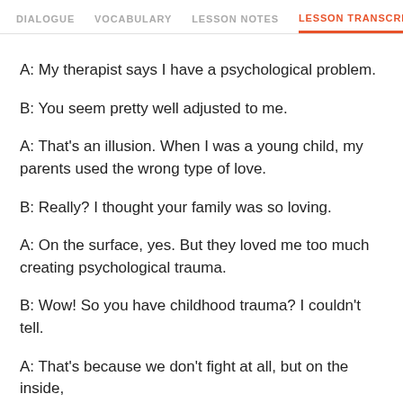DIALOGUE   VOCABULARY   LESSON NOTES   LESSON TRANSCRIPT   C
A: My therapist says I have a psychological problem.
B: You seem pretty well adjusted to me.
A: That's an illusion. When I was a young child, my parents used the wrong type of love.
B: Really? I thought your family was so loving.
A: On the surface, yes. But they loved me too much creating psychological trauma.
B: Wow! So you have childhood trauma? I couldn't tell.
A: That's because we don't fight at all, but on the inside,